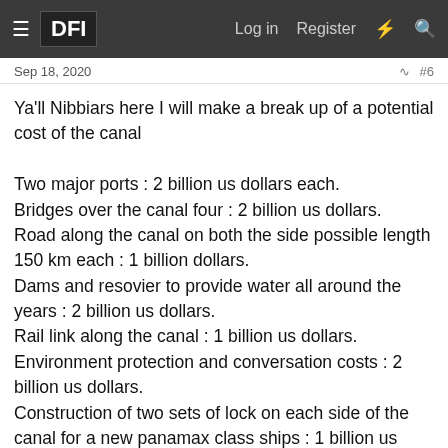DFI | Log in | Register
Sep 18, 2020  #6
Ya'll Nibbiars here I will make a break up of a potential cost of the canal

Two major ports : 2 billion us dollars each.
Bridges over the canal four : 2 billion us dollars.
Road along the canal on both the side possible length 150 km each : 1 billion dollars.
Dams and resovier to provide water all around the years : 2 billion us dollars.
Rail link along the canal : 1 billion us dollars.
Environment protection and conversation costs : 2 billion us dollars.
Construction of two sets of lock on each side of the canal for a new panamax class ships : 1 billion us dollars each.
Construction of two major airports : 1 billion us dollar.
Social infractures: 2 billions us dollars.
102 kilometres long, 500 wide and 30 deep canal dreging